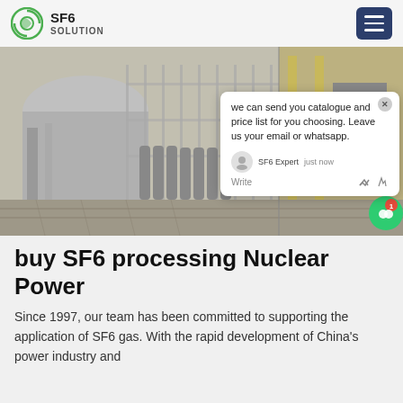SF6 SOLUTION
[Figure (photo): Industrial SF6 gas processing equipment at a power substation with large grey machinery, gas cylinders, and a yellow crane in the background. A live chat popup overlay is visible on the right side of the image with message: 'we can send you catalogue and price list for you choosing. Leave us your email or whatsapp.' with SF6 Expert agent shown.]
buy SF6 processing Nuclear Power
Since 1997, our team has been committed to supporting the application of SF6 gas. With the rapid development of China's power industry and